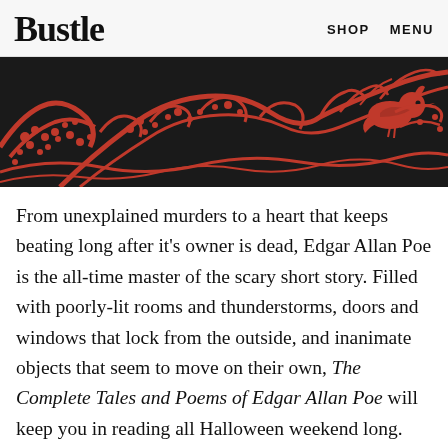Bustle   SHOP   MENU
[Figure (illustration): Dark red/crimson decorative illustration on a black background featuring branches, berries, and a bird (raven/cardinal) in a folk art or woodcut style.]
From unexplained murders to a heart that keeps beating long after it's owner is dead, Edgar Allan Poe is the all-time master of the scary short story. Filled with poorly-lit rooms and thunderstorms, doors and windows that lock from the outside, and inanimate objects that seem to move on their own, The Complete Tales and Poems of Edgar Allan Poe will keep you in reading all Halloween weekend long.